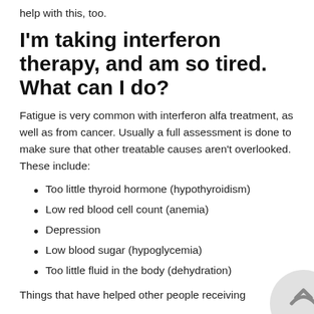help with this, too.
I'm taking interferon therapy, and am so tired. What can I do?
Fatigue is very common with interferon alfa treatment, as well as from cancer. Usually a full assessment is done to make sure that other treatable causes aren't overlooked. These include:
Too little thyroid hormone (hypothyroidism)
Low red blood cell count (anemia)
Depression
Low blood sugar (hypoglycemia)
Too little fluid in the body (dehydration)
Things that have helped other people receiving